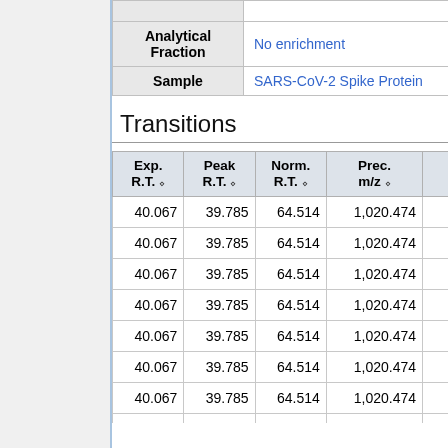|  | Analytical Fraction | Sample |
| --- | --- | --- |
| Analytical Fraction | No enrichment |
| Sample | SARS-CoV-2 Spike Protein |
Transitions
| Exp. R.T. | Peak R.T. | Norm. R.T. | Prec. m/z | ... |
| --- | --- | --- | --- | --- |
| 40.067 | 39.785 | 64.514 | 1,020.474 |
| 40.067 | 39.785 | 64.514 | 1,020.474 |
| 40.067 | 39.785 | 64.514 | 1,020.474 |
| 40.067 | 39.785 | 64.514 | 1,020.474 |
| 40.067 | 39.785 | 64.514 | 1,020.474 |
| 40.067 | 39.785 | 64.514 | 1,020.474 |
| 40.067 | 39.785 | 64.514 | 1,020.474 |
| 40.067 | 39.785 | 64.514 | 1,020.474 |
| 40.067 | 39.785 | 64.514 | 1,020.474 |